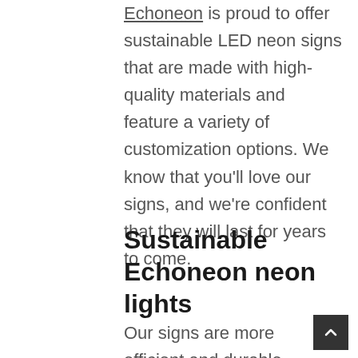Echoneon is proud to offer sustainable LED neon signs that are made with high-quality materials and feature a variety of customization options. We know that you'll love our signs, and we're confident that they will last for years to come.
Sustainable Echoneon neon lights
Our signs are more efficient and durable than traditional neon...